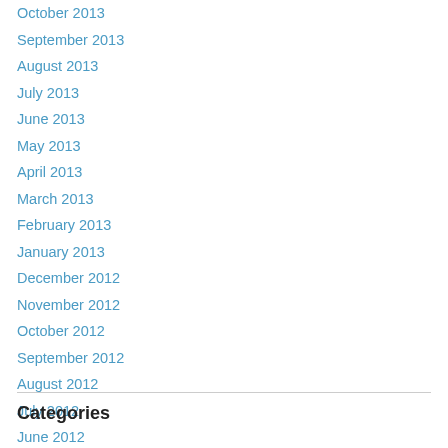October 2013
September 2013
August 2013
July 2013
June 2013
May 2013
April 2013
March 2013
February 2013
January 2013
December 2012
November 2012
October 2012
September 2012
August 2012
July 2012
June 2012
Categories